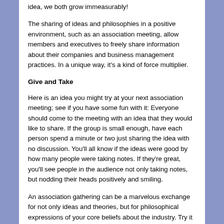idea, we both grow immeasurably!
The sharing of ideas and philosophies in a positive environment, such as an association meeting, allow members and executives to freely share information about their companies and business management practices. In a unique way, it's a kind of force multiplier.
Give and Take
Here is an idea you might try at your next association meeting; see if you have some fun with it: Everyone should come to the meeting with an idea that they would like to share. If the group is small enough, have each person spend a minute or two just sharing the idea with no discussion. You'll all know if the ideas were good by how many people were taking notes. If they're great, you'll see people in the audience not only taking notes, but nodding their heads positively and smiling.
An association gathering can be a marvelous exchange for not only ideas and theories, but for philosophical expressions of your core beliefs about the industry. Try it at your next meeting, or if you'd like, just try it with a friend at